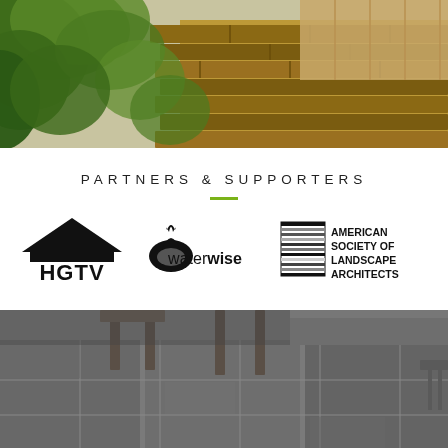[Figure (photo): Outdoor garden photo showing green leafy plants and a natural stone retaining wall with wood fence in background]
PARTNERS & SUPPORTERS
[Figure (logo): HGTV logo - black house/roof shape with HGTV text underneath]
[Figure (logo): Waterwise logo - black stylized water drop with flame shape and 'waterwise' text]
[Figure (logo): American Society of Landscape Architects logo - horizontal striped square graphic with text 'AMERICAN SOCIETY OF LANDSCAPE ARCHITECTS']
[Figure (photo): Outdoor patio photo showing modern stone tile floor with low furniture legs and benches visible]